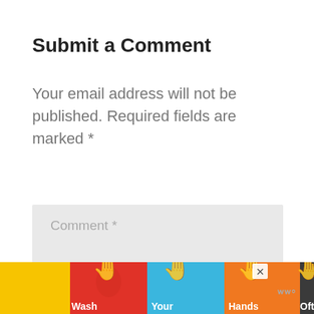Submit a Comment
Your email address will not be published. Required fields are marked *
[Figure (screenshot): Comment text area input field with placeholder text 'Comment *' on a light gray background]
[Figure (infographic): Ad banner with colorful hand-washing illustration: 'Wash Your Hands Often' on colored background segments with a close button and WW logo]